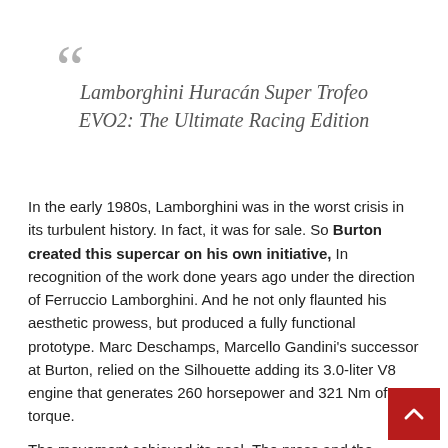Lamborghini Huracán Super Trofeo EVO2: The Ultimate Racing Edition
In the early 1980s, Lamborghini was in the worst crisis in its turbulent history. In fact, it was for sale. So Burton created this supercar on his own initiative, In recognition of the work done years ago under the direction of Ferruccio Lamborghini. And he not only flaunted his aesthetic prowess, but produced a fully functional prototype. Marc Deschamps, Marcello Gandini's successor at Burton, relied on the Silhouette adding its 3.0-liter V8 engine that generates 260 horsepower and 321 Nm of torque.
The movement achieved its goal. The press and the